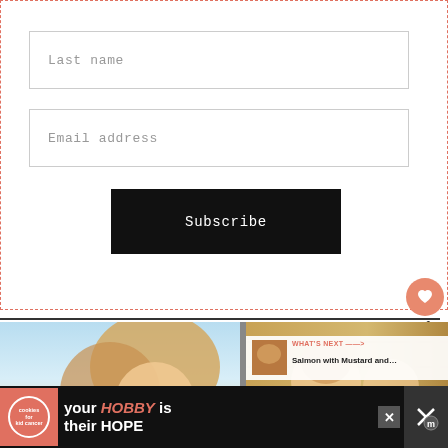Last name
Email address
Subscribe
[Figure (screenshot): Heart/favorite icon button (salmon/orange circle with heart symbol) and share icon below it with count badge '1']
[Figure (photo): Left: photo of blonde woman/child outdoors with blue sky. Right: photo of smiling woman in a wood-paneled room with 'WHAT'S NEXT' overlay showing 'Salmon with Mustard and...']
[Figure (infographic): Ad banner: 'cookies for kid cancer' logo on left, text 'your HOBBY is their HOPE' in white and pink on black background, X close button, and icon on right]